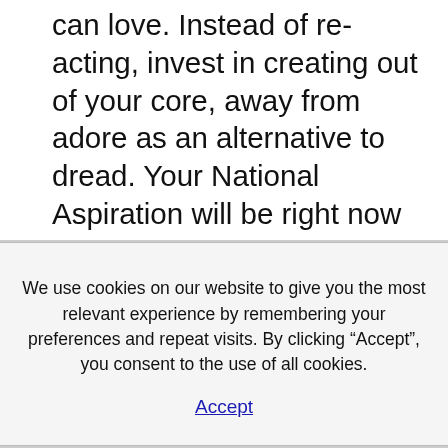can love. Instead of re-acting, invest in creating out of your core, away from adore as an alternative to dread. Your National Aspiration will be right now there, however a aspiration is still a fantasy without movements. Be blown away because the change for better commences.
We use cookies on our website to give you the most relevant experience by remembering your preferences and repeat visits. By clicking “Accept”, you consent to the use of all cookies.
Accept
whether it work. You will end up astonished to find out associated with there are more techniques for getting the task completed in moment. If you aren’t happy about the outcome, choose in which minute to find